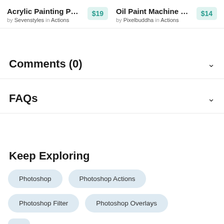Acrylic Painting P… $19 by Sevenstyles in Actions | Oil Paint Machine … $14 by Pixelbuddha in Actions
Comments (0)
FAQs
Keep Exploring
Photoshop
Photoshop Actions
Photoshop Filter
Photoshop Overlays